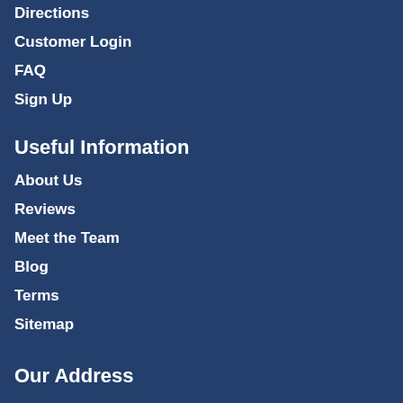Directions
Customer Login
FAQ
Sign Up
Useful Information
About Us
Reviews
Meet the Team
Blog
Terms
Sitemap
Our Address
The Yorkshire Jigsaw Store,